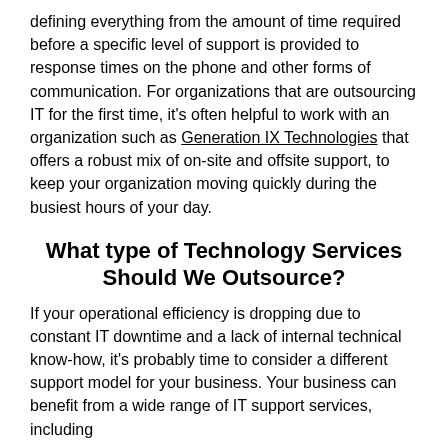defining everything from the amount of time required before a specific level of support is provided to response times on the phone and other forms of communication. For organizations that are outsourcing IT for the first time, it's often helpful to work with an organization such as Generation IX Technologies that offers a robust mix of on-site and offsite support, to keep your organization moving quickly during the busiest hours of your day.
What type of Technology Services Should We Outsource?
If your operational efficiency is dropping due to constant IT downtime and a lack of internal technical know-how, it's probably time to consider a different support model for your business. Your business can benefit from a wide range of IT support services, including